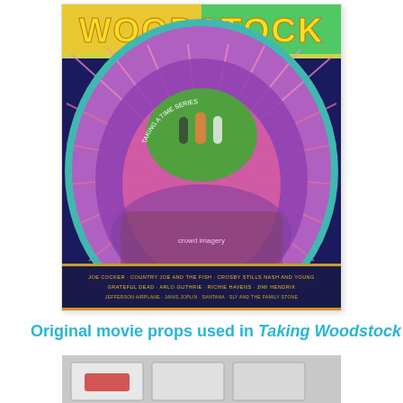[Figure (photo): Woodstock movie poster — psychedelic design with 'WOODSTOCK' lettering in yellow/orange at top on purple sunburst background, circular design with radiating lines in pink/purple, small group of people standing in center green oval, crowd of festival-goers at bottom, text credits at bottom in dark blue/purple background]
Original movie props used in Taking Woodstock
[Figure (photo): Partial view of original movie props used in Taking Woodstock — appears to show packaged items on a surface]